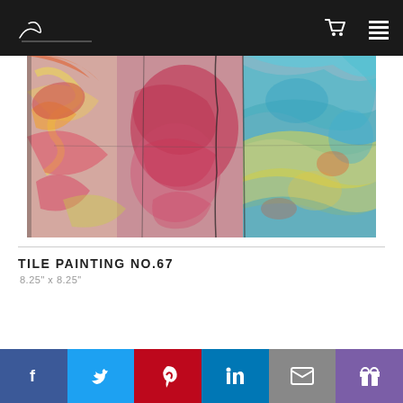Rob White — artist website header with logo, cart icon, and menu icon
[Figure (photo): Close-up photograph of a colorful tile painting with abstract brushstrokes in pink, red, yellow, blue, and teal colors on textured tile surfaces]
TILE PAINTING NO.67
8.25" x 8.25"
Social share bar: Facebook, Twitter, Pinterest, LinkedIn, Email, Gift